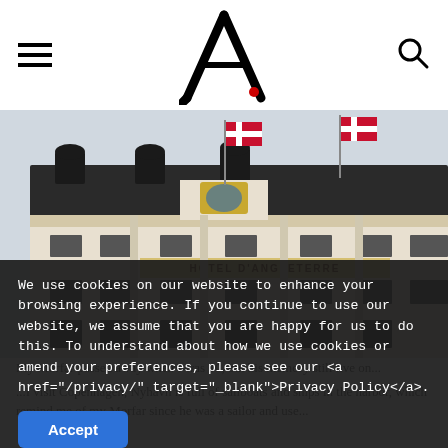Navigation header with hamburger menu, stylized 'A' logo, and search icon
[Figure (photo): Photograph of an ornate European-style building facade with Danish flags flying on top, featuring decorative stonework and multiple windows. Likely a Copenhagen landmark such as Hotel d'Angleterre or similar grand building.]
We use cookies on our website to enhance your browsing experience. If you continue to use our website, we assume that you are happy for us to do this. To understand about how we use cookies or amend your preferences, please see our <a href="/privacy/" target="_blank">Privacy Policy</a>.
My Morfar passed away when I was 10, but his memory still live on... I visit Copenhagen, Nyhavn is full of sailboats and ships in the harbor, which remind me of my Morfar since he was a sailor and use...